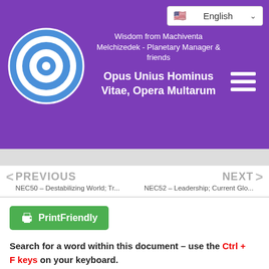[Figure (logo): Website header with purple background, circular target/bullseye logo in blue and white on left, language selector (English with flag) top right, hamburger menu icon right, subtitle text 'Wisdom from Machiventa Melchizedek - Planetary Manager & friends', and title 'Opus Unius Hominus Vitae, Opera Multarum']
< PREVIOUS
NEC50 – Destabilizing World; Tr...
NEXT >
NEC52 – Leadership; Current Glo...
[Figure (screenshot): Green PrintFriendly button with printer icon]
Search for a word within this document – use the Ctrl + F keys on your keyboard.
Leave a suggestion or comment >CLICK HERE<.